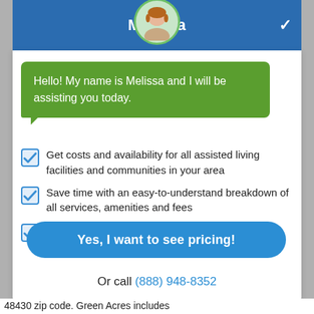Melissa
Hello! My name is Melissa and I will be assisting you today.
Get costs and availability for all assisted living facilities and communities in your area
Save time with an easy-to-understand breakdown of all services, amenities and fees
Find the senior living facility or community that is perfect for you
Yes, I want to see pricing!
Or call (888) 948-8352
48430 zip code. Green Acres includes